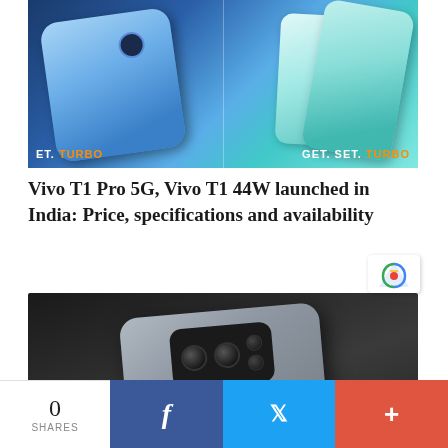[Figure (photo): Two Vivo smartphones displayed side by side against a blue and teal gradient background with 'GET. SET. TURBO' text at the bottom of both sides]
Vivo T1 Pro 5G, Vivo T1 44W launched in India: Price, specifications and availability
[Figure (photo): OnePlus smartphone showing camera module on the back, photographed on a dark rocky surface]
0 SHARES